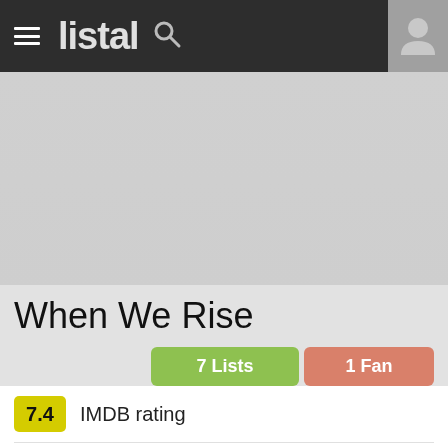listal
[Figure (photo): Gray banner/background image area for When We Rise TV show page]
When We Rise
7 Lists
1 Fan
7.4 IMDB rating
Add to favorites
Edit page